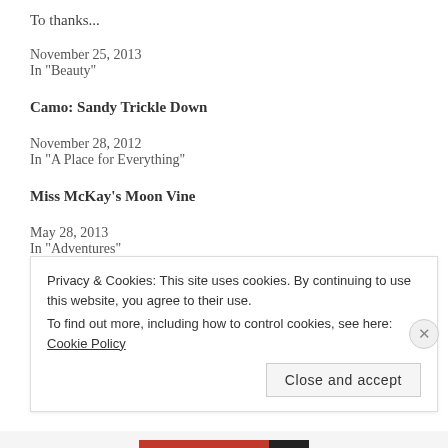To thanks...
November 25, 2013
In "Beauty"
Camo: Sandy Trickle Down
November 28, 2012
In "A Place for Everything"
Miss McKay's Moon Vine
May 28, 2013
In "Adventures"
Privacy & Cookies: This site uses cookies. By continuing to use this website, you agree to their use.
To find out more, including how to control cookies, see here: Cookie Policy
Close and accept